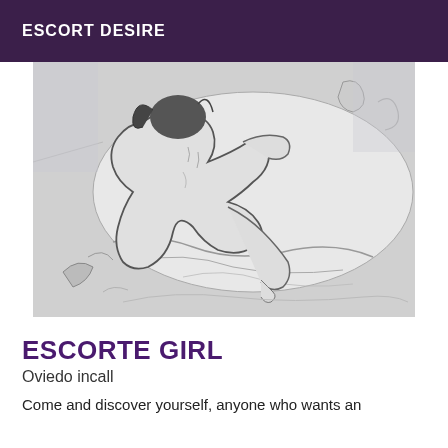ESCORT DESIRE
[Figure (illustration): Black and white pencil sketch illustration of a figure lying on a bed with rumpled sheets, drawn in an artistic style]
ESCORTE GIRL
Oviedo incall
Come and discover yourself, anyone who wants an